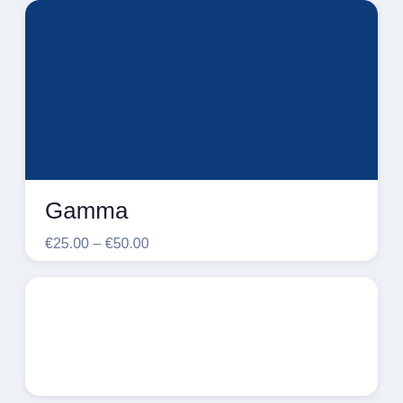[Figure (other): Dark navy blue rounded card/image area at the top of a product card]
Gamma
€25.00 – €50.00
[Figure (other): Empty white card below the product card]